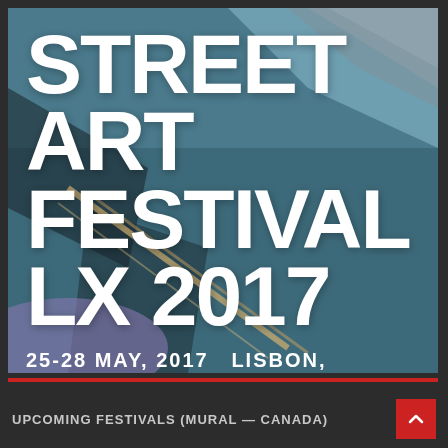[Figure (illustration): Street Art Festival LX 2017 promotional image with textured blue-gray and teal background showing abstract mural textures. Large white bold text reads STREET ART FESTIVAL LX 2017. Below reads 25-28 MAY, 2017  LISBON, PORTUGAL.]
UPCOMING FESTIVALS (MURAL — CANADA)